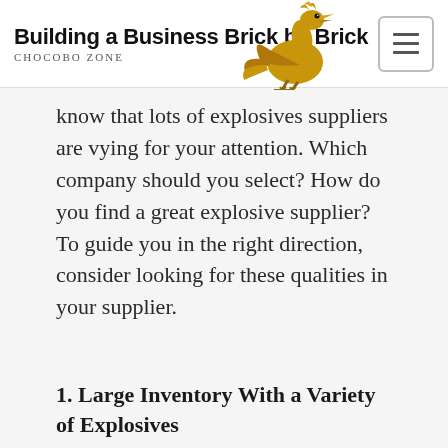Building a Business Brick by Brick — CHOCOBO ZONE
know that lots of explosives suppliers are vying for your attention. Which company should you select? How do you find a great explosive supplier? To guide you in the right direction, consider looking for these qualities in your supplier.
1. Large Inventory With a Variety of Explosives